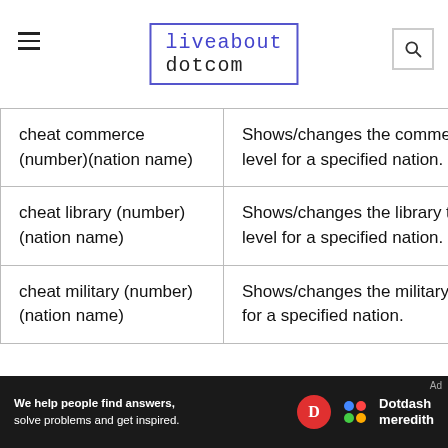liveabout dotcom
| Command | Effect |
| --- | --- |
| cheat commerce (number)(nation name) | Shows/changes the commerce level for a specified nation. |
| cheat library (number)(nation name) | Shows/changes the library tech level for a specified nation. |
| cheat military (number)(nation name) | Shows/changes the military level for a specified nation. |